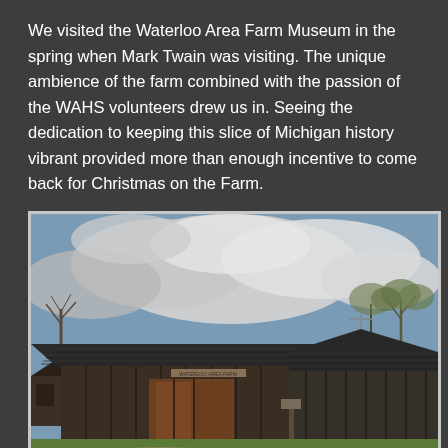We visited the Waterloo Area Farm Museum in the spring when Mark Twain was visiting. The unique ambience of the farm combined with the passion of the WAHS volunteers drew us in. Seeing the dedication to keeping this slice of Michigan history vibrant provided more than enough incentive to come back for Christmas on the Farm.
[Figure (photo): Photograph of old weathered wooden barn buildings at the Waterloo Area Farm Museum. The scene shows dark vertical-plank barn structures with a shingled roof against a dramatic cloudy sky. Trees with bare or leafing branches are visible in the background. Green grass is in the foreground along with gravel path and a wooden bench.]